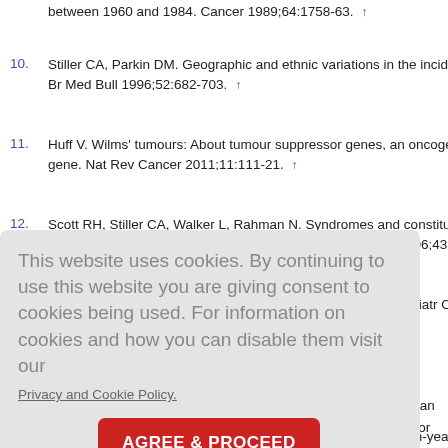9. [truncated] between 1960 and 1984. Cancer 1989;64:1758-63. ↑
10. Stiller CA, Parkin DM. Geographic and ethnic variations in the incidence of... Br Med Bull 1996;52:682-703. ↑
11. Huff V. Wilms' tumours: About tumour suppressor genes, an oncogene... gene. Nat Rev Cancer 2011;11:111-21. ↑
12. Scott RH, Stiller CA, Walker L, Rahman N. Syndromes and constitutio... abnormalities associated with Wilms tumour. J Med Genet 2006;43:705-15.
13. Clericuzio CL. Clinical phenotypes and Wilms tumor. Med Pediatr Oncol 199...
This website uses cookies. By continuing to use this website you are giving consent to cookies being used. For information on cookies and how you can disable them visit our Privacy and Cookie Policy.
AGREE & PROCEED